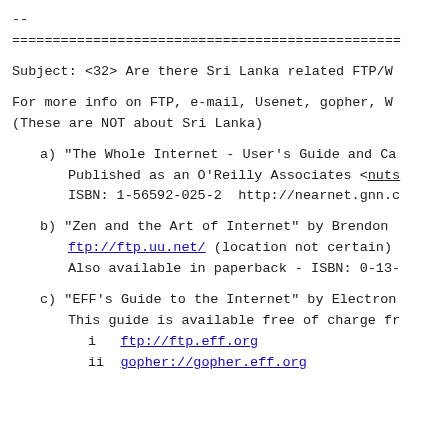--
==================================================
Subject: <32> Are there Sri Lanka related FTP/W
For more info on FTP, e-mail, Usenet, gopher, W
(These are NOT about Sri Lanka)
a) "The Whole Internet - User's Guide and Ca
      Published as an O'Reilly Associates <nuts
      ISBN: 1-56592-025-2  http://nearnet.gnn.c
b) "Zen and the Art of Internet" by Brendon
      ftp://ftp.uu.net/ (location not certain)
      Also available in paperback - ISBN: 0-13-
c) "EFF's Guide to the Internet" by Electron
      This guide is available free of charge fr
      i   ftp://ftp.eff.org
      ii  gopher://gopher.eff.org